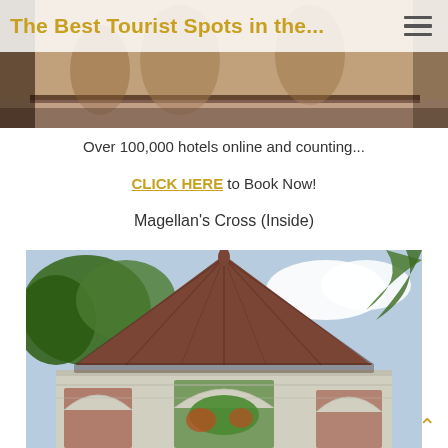The Best Tourist Spots in the...
[Figure (photo): Interior ceiling mural photo showing painted figures and tropical motifs, partially visible behind semi-transparent header bar]
Over 100,000 hotels online and counting...
CLICK HERE to Book Now!
Magellan's Cross (Inside)
[Figure (photo): Exterior photo of Magellan's Cross octagonal chapel/kiosk with terracotta tiled conical roof, stone archways decorated with flowers, surrounded by trees and palm fronds, blue sky in background]